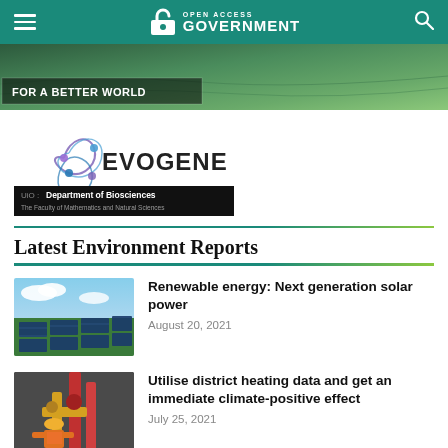Open Access Government
[Figure (photo): Hero banner with aerial/nature background and text 'FOR A BETTER WORLD']
[Figure (logo): Evogene logo with stylized molecule graphic and UiO Department of Biosciences banner below]
Latest Environment Reports
[Figure (photo): Solar panel field under blue sky]
Renewable energy: Next generation solar power
August 20, 2021
[Figure (photo): Industrial worker inspecting district heating pipes with yellow and red pipes]
Utilise district heating data and get an immediate climate-positive effect
July 25, 2021